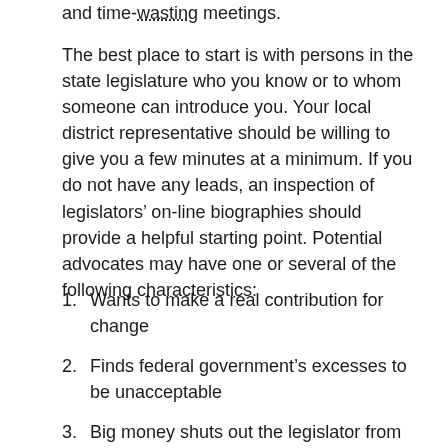and time-wasting meetings.
The best place to start is with persons in the state legislature who you know or to whom someone can introduce you. Your local district representative should be willing to give you a few minutes at a minimum. If you do not have any leads, an inspection of legislators’ on-line biographies should provide a helpful starting point. Potential advocates may have one or several of the following characteristics:
1. Wants to make a real contribution for change
2. Finds federal government’s excesses to be unacceptable
3. Big money shuts out the legislator from running for Congress
4. Strong supporter of state’s rights
5. Is a scholar of constitutional issues